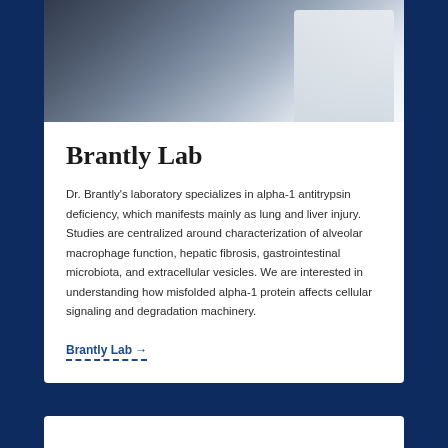[Figure (photo): Doctor in white coat at a desk with computer monitor, working]
Brantly Lab
Dr. Brantly's laboratory specializes in alpha-1 antitrypsin deficiency, which manifests mainly as lung and liver injury. Studies are centralized around characterization of alveolar macrophage function, hepatic fibrosis, gastrointestinal microbiota, and extracellular vesicles. We are interested in understanding how misfolded alpha-1 protein affects cellular signaling and degradation machinery.
Brantly Lab →